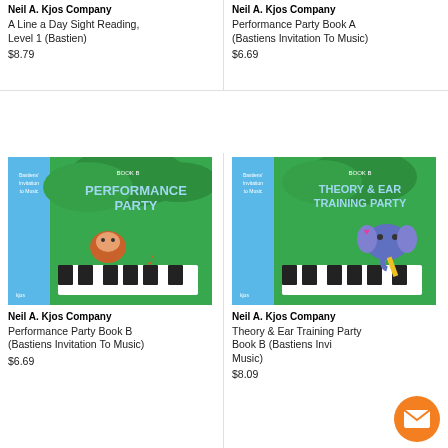Neil A. Kjos Company
A Line a Day Sight Reading, Level 1 (Bastien)
$8.79
Neil A. Kjos Company
Performance Party Book A (Bastiens Invitation To Music)
$6.69
[Figure (photo): Book cover: Performance Party Book B, Bastiens Invitation to Music, Neil A. Kjos Company. Green cover with cartoon monkey at piano keyboard and music note.]
[Figure (photo): Book cover: Theory & Ear Training Party Book B, Bastiens Invitation to Music, Neil A. Kjos Company. Green cover with cartoon elephant at piano keyboard.]
Neil A. Kjos Company
Performance Party Book B (Bastiens Invitation To Music)
$6.69
Neil A. Kjos Company
Theory & Ear Training Party Book B (Bastiens Invitation To Music)
$8.09